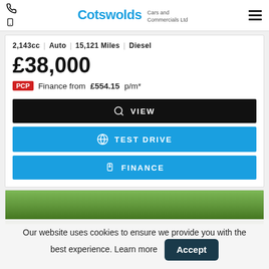Cotswolds Cars and Commercials Ltd
2,143cc | Auto | 15,121 Miles | Diesel
£38,000
PCP Finance from £554.15 p/m*
VIEW
TEST DRIVE
FINANCE
[Figure (photo): Partial view of a car or outdoor scene with trees/greenery]
Our website uses cookies to ensure we provide you with the best experience. Learn more Accept